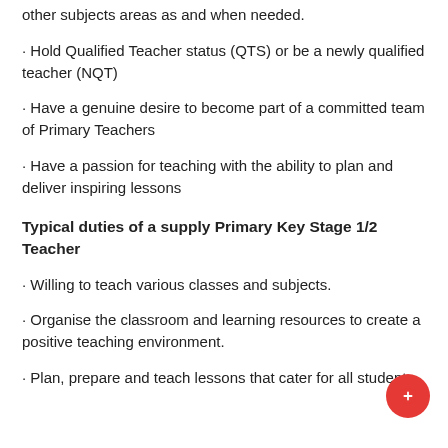· other subjects areas as and when needed.
· Hold Qualified Teacher status (QTS) or be a newly qualified teacher (NQT)
· Have a genuine desire to become part of a committed team of Primary Teachers
· Have a passion for teaching with the ability to plan and deliver inspiring lessons
Typical duties of a supply Primary Key Stage 1/2 Teacher
· Willing to teach various classes and subjects.
· Organise the classroom and learning resources to create a positive teaching environment.
· Plan, prepare and teach lessons that cater for all student abilit…